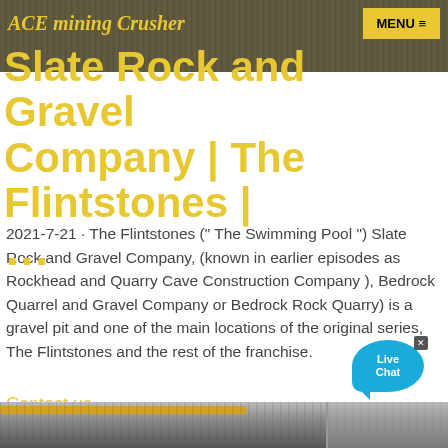ACE mining Crusher
Slate Rock and Gravel Company | The Flintstones | ...
2021-7-21 · The Flintstones (" The Swimming Pool ") Slate Rock and Gravel Company, (known in earlier episodes as Rockhead and Quarry Cave Construction Company ), Bedrock Quarrel and Gravel Company or Bedrock Rock Quarry) is a gravel pit and one of the main locations of the original series, The Flintstones and the rest of the franchise.
Contact us
[Figure (photo): Industrial facility interior with yellow crane beam and machinery]